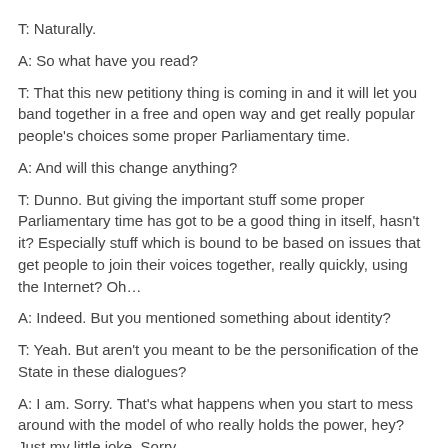T: Naturally.
A: So what have you read?
T: That this new petitiony thing is coming in and it will let you band together in a free and open way and get really popular people's choices some proper Parliamentary time.
A: And will this change anything?
T: Dunno. But giving the important stuff some proper Parliamentary time has got to be a good thing in itself, hasn't it? Especially stuff which is bound to be based on issues that get people to join their voices together, really quickly, using the Internet? Oh…
A: Indeed. But you mentioned something about identity?
T: Yeah. But aren't you meant to be the personification of the State in these dialogues?
A: I am. Sorry. That's what happens when you start to mess around with the model of who really holds the power, hey? Just my little joke. Sorry.